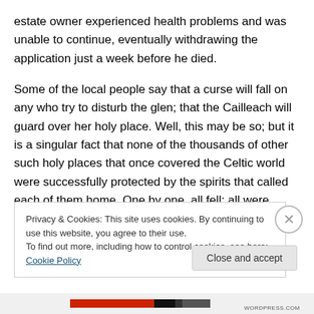estate owner experienced health problems and was unable to continue, eventually withdrawing the application just a week before he died.
Some of the local people say that a curse will fall on any who try to disturb the glen; that the Cailleach will guard over her holy place. Well, this may be so; but it is a singular fact that none of the thousands of other such holy places that once covered the Celtic world were successfully protected by the spirits that called each of them home. One by one, all fell; all were reconsecrated,
Privacy & Cookies: This site uses cookies. By continuing to use this website, you agree to their use.
To find out more, including how to control cookies, see here: Cookie Policy